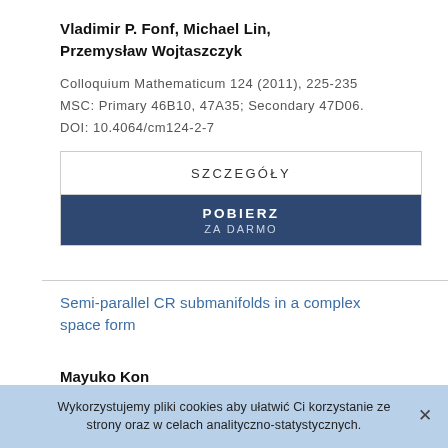Vladimir P. Fonf, Michael Lin,
Przemysław Wojtaszczyk
Colloquium Mathematicum 124 (2011), 225-235
MSC: Primary 46B10, 47A35; Secondary 47D06.
DOI: 10.4064/cm124-2-7
[Figure (other): Two buttons: SZCZEGÓŁY (white background) and POBIERZ / ZA DARMO (dark blue background)]
Semi-parallel CR submanifolds in a complex space form
Mayuko Kon
Wykorzystujemy pliki cookies aby ułatwić Ci korzystanie ze strony oraz w celach analityczno-statystycznych.